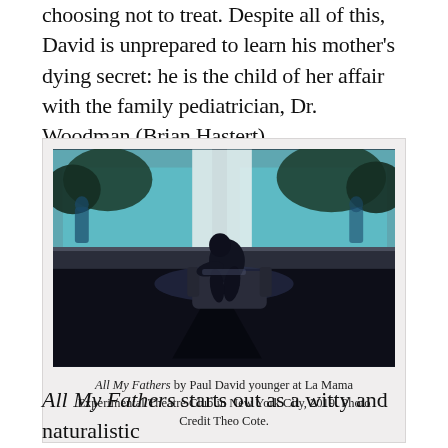choosing not to treat. Despite all of this, David is unprepared to learn his mother's dying secret: he is the child of her affair with the family pediatrician, Dr. Woodman (Brian Hastert).
[Figure (photo): A person sitting hunched on a chair/sofa in a dimly lit stage scene, silhouetted against a bright backdrop showing an outdoor scene with teal-colored building and trees. The stage is dark with dramatic shadow cast on the floor.]
All My Fathers by Paul David younger at La Mama Experimental Theatre Club in New York City, 2019. Photo Credit Theo Cote.
All My Fathers starts out as a witty and naturalistic